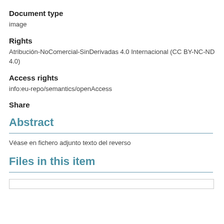Document type
image
Rights
Atribución-NoComercial-SinDerivadas 4.0 Internacional (CC BY-NC-ND 4.0)
Access rights
info:eu-repo/semantics/openAccess
Share
Abstract
Véase en fichero adjunto texto del reverso
Files in this item